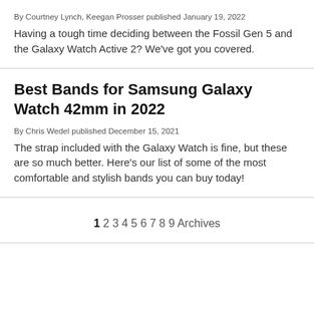By Courtney Lynch, Keegan Prosser published January 19, 2022
Having a tough time deciding between the Fossil Gen 5 and the Galaxy Watch Active 2? We've got you covered.
Best Bands for Samsung Galaxy Watch 42mm in 2022
By Chris Wedel published December 15, 2021
The strap included with the Galaxy Watch is fine, but these are so much better. Here's our list of some of the most comfortable and stylish bands you can buy today!
1 2 3 4 5 6 7 8 9 Archives